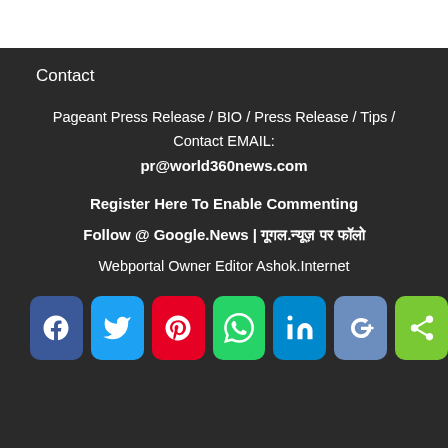Contact
Pageant Press Release / BIO / Press Release / Tips / Contact EMAIL:
pr@world360news.com
Register Here To Enable Commenting
Follow @ Google.News | गूगल.न्यूज़ पर फॉलो
Webportal Owner Editor Ashok.Internet
[Figure (infographic): Social media share buttons: Facebook, Twitter, Pinterest, WhatsApp, LinkedIn, Google+, Share]